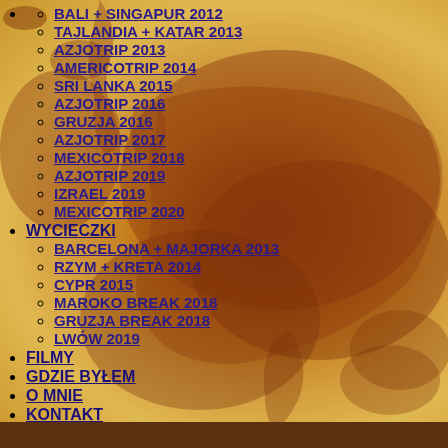BALI + SINGAPUR 2012
TAJLANDIA + KATAR 2013
AZJOTRIP 2013
AMERICOTRIP 2014
SRI LANKA 2015
AZJOTRIP 2016
GRUZJA 2016
AZJOTRIP 2017
MEXICOTRIP 2018
AZJOTRIP 2019
IZRAEL 2019
MEXICOTRIP 2020
WYCIECZKI
BARCELONA + MAJORKA 2013
RZYM + KRETA 2014
CYPR 2015
MAROKO BREAK 2018
GRUZJA BREAK 2018
LWÓW 2019
FILMY
GDZIE BYŁEM
O MNIE
KONTAKT